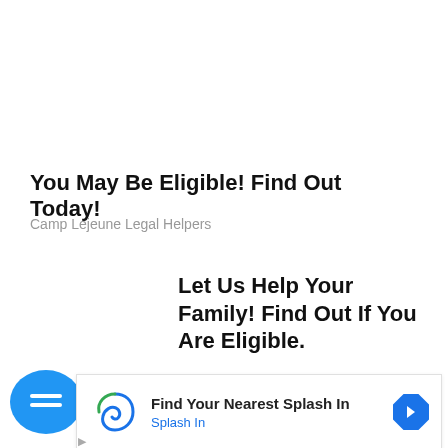You May Be Eligible! Find Out Today!
Camp Lejeune Legal Helpers
Let Us Help Your Family! Find Out If You Are Eligible.
Baby Formula Legal Helpers
[Figure (logo): Blue chat bubble icon with two horizontal lines]
[Figure (infographic): Bottom ad banner: spiral logo for Splash In, text 'Find Your Nearest Splash In', subtext 'Splash In', blue navigation arrow icon on right]
Find Your Nearest Splash In
Splash In